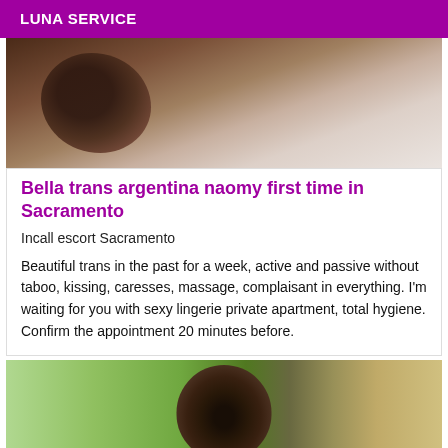LUNA SERVICE
[Figure (photo): Top portion of a person lying on white bedding, partial view of head and body]
Bella trans argentina naomy first time in Sacramento
Incall escort Sacramento
Beautiful trans in the past for a week, active and passive without taboo, kissing, caresses, massage, complaisant in everything. I'm waiting for you with sexy lingerie private apartment, total hygiene. Confirm the appointment 20 minutes before.
[Figure (photo): Bottom portion showing top of a person's dark-haired head against a blurred green and yellow background]